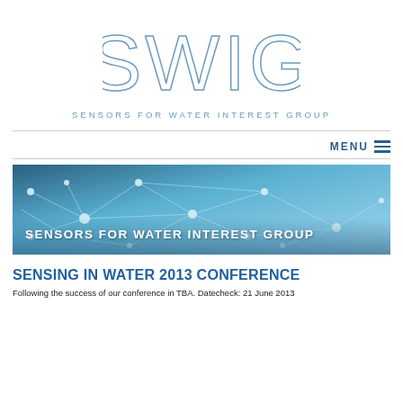[Figure (logo): SWIG logo — large outlined letters 'SWIG' in light blue with border, subtitle 'SENSORS FOR WATER INTEREST GROUP' below in spaced caps]
SENSORS FOR WATER INTEREST GROUP
[Figure (photo): Banner image with network/node graphic on blue water background with text overlay 'SENSORS FOR WATER INTEREST GROUP']
SENSING IN WATER 2013 CONFERENCE
Following the success of our conference in TBA. Datecheck: 21 June 2013